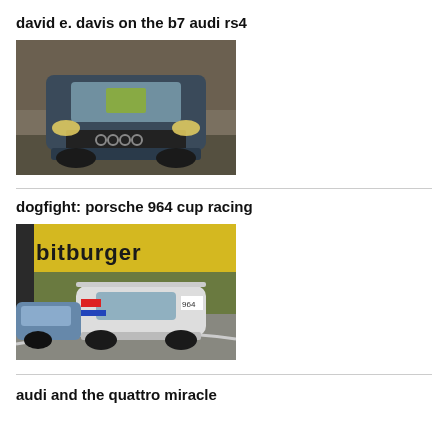david e. davis on the b7 audi rs4
[Figure (photo): Front view of a dark blue Audi RS4 (B7 generation) driving toward camera with headlights on, trees in background]
dogfight: porsche 964 cup racing
[Figure (photo): Porsche 964 Cup race car on track with Bitburger advertising banner in background and another race car visible on the left]
audi and the quattro miracle